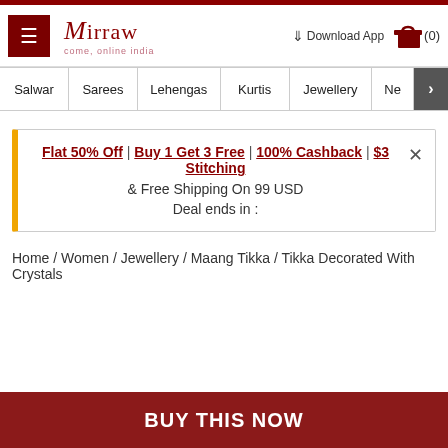Mirraw - come, online india
Salwar | Sarees | Lehengas | Kurtis | Jewellery | Ne >
Flat 50% Off | Buy 1 Get 3 Free | 100% Cashback | $3 Stitching & Free Shipping On 99 USD
Deal ends in :
Home / Women / Jewellery / Maang Tikka / Tikka Decorated With Crystals
BUY THIS NOW